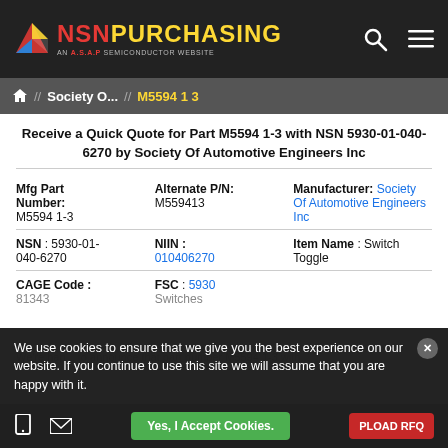NSN PURCHASING — AN A.S.A.P SEMICONDUCTOR WEBSITE
Home // Society O... // M5594 1 3
Receive a Quick Quote for Part M5594 1-3 with NSN 5930-01-040-6270 by Society Of Automotive Engineers Inc
| Mfg Part Number | Alternate P/N: | Manufacturer: |
| --- | --- | --- |
| M5594 1-3 | M559413 | Society Of Automotive Engineers Inc |
| NSN | NIIN: | Item Name: |
| --- | --- | --- |
| 5930-01-040-6270 | 010406270 | Switch Toggle |
| CAGE Code: | FSC: |
| --- | --- |
| 81343 | 5930 Switches |
We use cookies to ensure that we give you the best experience on our website. If you continue to use this site we will assume that you are happy with it.
Yes, I Accept Cookies.